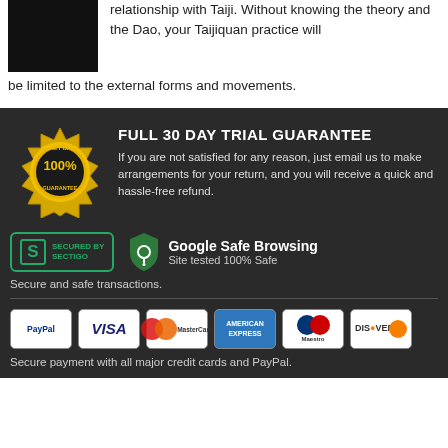[Figure (photo): Black and white photo of a person in the top-left corner]
relationship with Taiji. Without knowing the theory and the Dao, your Taijiquan practice will be limited to the external forms and movements.
[Figure (other): Money Back Guarantee 100% badge - gold seal]
FULL 30 DAY TRIAL GUARANTEE
If you are not satisfied for any reason, just email us to make arrangements for your return, and you will receive a quick and hassle-free refund.
[Figure (logo): Secured by Sectigo badge]
[Figure (logo): Google Safe Browsing - Site tested 100% Safe]
Secure and safe transactions.
[Figure (logo): Payment method logos: PayPal, VISA, MasterCard, American Express, Maestro, Discover]
Secure payment with all major credit cards and PayPal.